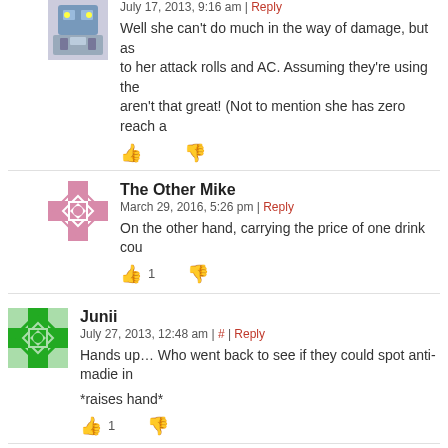July 17, 2013, 9:16 am | Reply
Well she can't do much in the way of damage, but as to her attack rolls and AC. Assuming they're using the aren't that great! (Not to mention she has zero reach a
The Other Mike
March 29, 2016, 5:26 pm | Reply
On the other hand, carrying the price of one drink cou
Junii
July 27, 2013, 12:48 am | # | Reply
Hands up… Who went back to see if they could spot anti-madie in
*raises hand*
evileeyore
December 25, 2021, 7:35 pm | Reply
ZOD dammit… now I have to go check too…